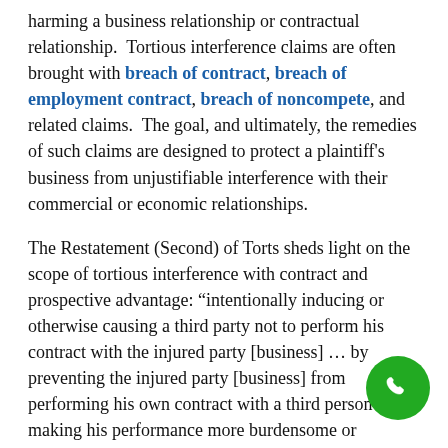harming a business relationship or contractual relationship. Tortious interference claims are often brought with breach of contract, breach of employment contract, breach of noncompete, and related claims. The goal, and ultimately, the remedies of such claims are designed to protect a plaintiff's business from unjustifiable interference with their commercial or economic relationships.
The Restatement (Second) of Torts sheds light on the scope of tortious interference with contract and prospective advantage: “intentionally inducing or otherwise causing a third party not to perform his contract with the injured party [business] … by preventing the injured party [business] from performing his own contract with a third person or by making his performance more burdensome or expensive.”
Based on the right to enter and perform lawful contracts, the tort of interference with contract